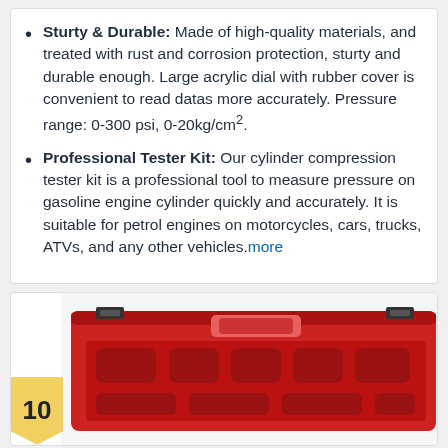Sturty & Durable: Made of high-quality materials, and treated with rust and corrosion protection, sturty and durable enough. Large acrylic dial with rubber cover is convenient to read datas more accurately. Pressure range: 0-300 psi, 0-20kg/cm².
Professional Tester Kit: Our cylinder compression tester kit is a professional tool to measure pressure on gasoline engine cylinder quickly and accurately. It is suitable for petrol engines on motorcycles, cars, trucks, ATVs, and any other vehicles. more
[Figure (photo): Red plastic carrying case for a compression tester kit, open/closed view, showing interior molded slots. A yellow badge with number 10 is overlaid in the lower-left corner.]